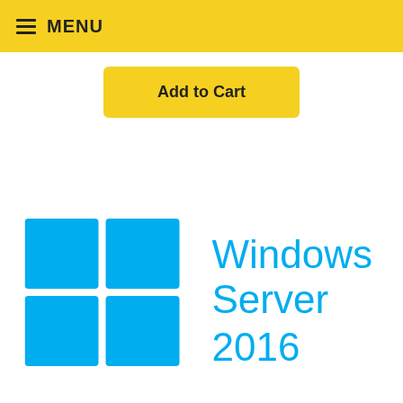MENU
Add to Cart
[Figure (logo): Windows Server 2016 logo: blue four-pane Windows flag icon on the left, with 'Windows Server 2016' text in light blue on the right]